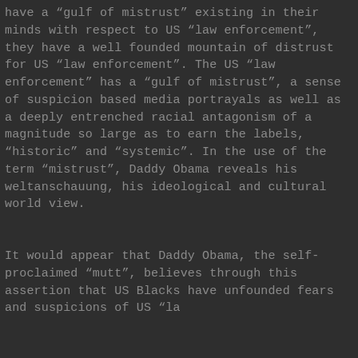have a “gulf of mistrust” existing in their minds with respect to US “law enforcement”, they have a well founded mountain of distrust for US “law enforcement”. The US “law enforcement” has a “gulf of mistrust”, a sense of suspicion based media portrayals as well as a deeply entrenched racial antagonism of a magnitude so large as to earn the labels, “historic” and “systemic”. In the use of the term “mistrust”, Daddy Obama reveals his weltanschauung, his ideological and cultural world view.
It would appear that Daddy Obama, the self-proclaimed “mutt”, believes through this assertion that US Blacks have unfounded fears and suspicions of US “la...